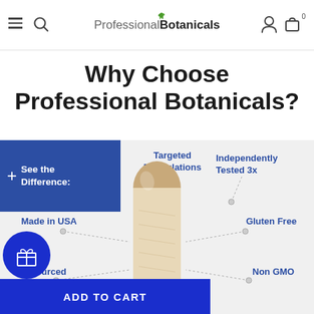Professional Botanicals — navigation header with hamburger, search, logo, account, and cart icons
Why Choose Professional Botanicals?
[Figure (infographic): Infographic showing a supplement capsule in the center with labeled callouts: Targeted Formulations, Independently Tested 3x, Made in USA, Gluten Free, Sourced (partially obscured), Non GMO. A blue box in the top-left reads '+ See the Difference:'. Bottom has a gift button icon and an ADD TO CART button.]